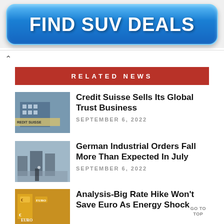[Figure (other): Blue button advertisement with text FIND SUV DEALS]
RELATED NEWS
[Figure (photo): Photo of Credit Suisse building exterior with bus]
Credit Suisse Sells Its Global Trust Business
SEPTEMBER 6, 2022
[Figure (photo): Photo of German industrial facility interior]
German Industrial Orders Fall More Than Expected In July
SEPTEMBER 6, 2022
[Figure (photo): Photo of Euro currency notes]
Analysis-Big Rate Hike Won't Save Euro As Energy Shock
GO TO TOP